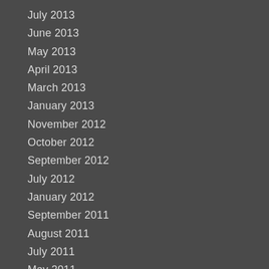July 2013
June 2013
May 2013
April 2013
March 2013
January 2013
November 2012
October 2012
September 2012
July 2012
January 2012
September 2011
August 2011
July 2011
May 2011
March 2011
January 2011
November 2010